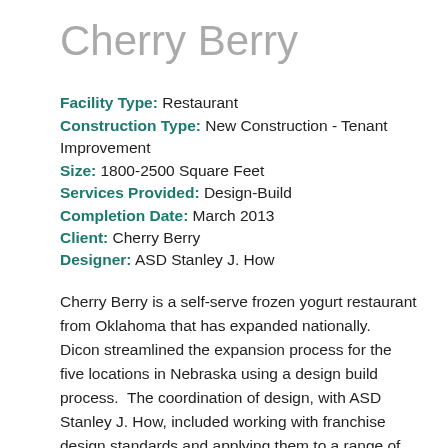Cherry Berry
Facility Type: Restaurant
Construction Type: New Construction - Tenant Improvement
Size: 1800-2500 Square Feet
Services Provided: Design-Build
Completion Date: March 2013
Client: Cherry Berry
Designer: ASD Stanley J. How
Cherry Berry is a self-serve frozen yogurt restaurant from Oklahoma that has expanded nationally.  Dicon streamlined the expansion process for the five locations in Nebraska using a design build process.  The coordination of design, with ASD Stanley J. How, included working with franchise design standards and applying them to a range of different tenant layouts.  Dicon established a team of sub-contractors capable